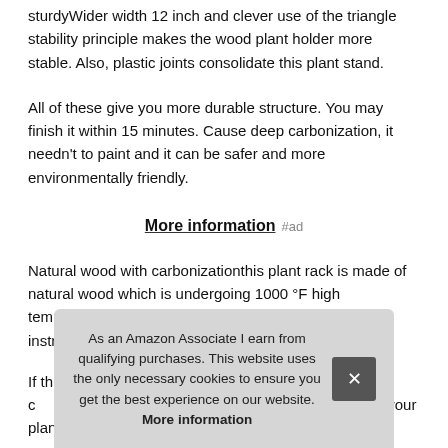sturdyWider width 12 inch and clever use of the triangle stability principle makes the wood plant holder more stable. Also, plastic joints consolidate this plant stand.
All of these give you more durable structure. You may finish it within 15 minutes. Cause deep carbonization, it needn't to paint and it can be safer and more environmentally friendly.
More information #ad
Natural wood with carbonizationthis plant rack is made of natural wood which is undergoing 1000 °F high temperature carbonization. Easy to assembleexplicit instruction and plastic joints make it easy to assemble.
If th... to c... refu... makes your plants space strewn at random over there. You
As an Amazon Associate I earn from qualifying purchases. This website uses the only necessary cookies to ensure you get the best experience on our website. More information